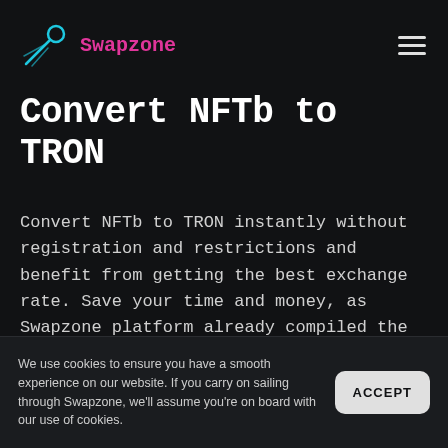Swapzone
Convert NFTb to TRON
Convert NFTb to TRON instantly without registration and restrictions and benefit from getting the best exchange rate. Save your time and money, as Swapzone platform already compiled the best exchange rates, reviews, and transaction processing speed for NFTB to TRX swap.
We use cookies to ensure you have a smooth experience on our website. If you carry on sailing through Swapzone, we'll assume you're on board with our use of cookies.